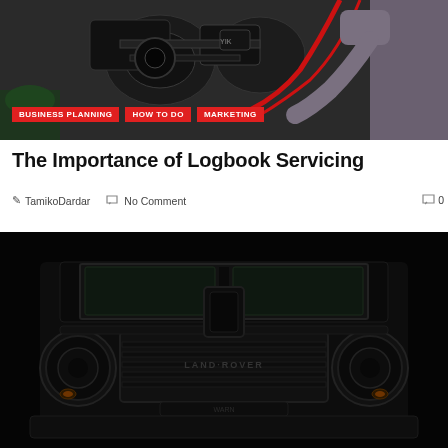[Figure (photo): Person jump-starting a car engine with red jumper cables attached to a dark engine bay]
BUSINESS PLANNING   HOW TO DO   MARKETING
The Importance of Logbook Servicing
TamikoDardar   No Comment   0
[Figure (photo): Front view of a dark Land Rover Defender SUV against black background, showing headlights and grille]